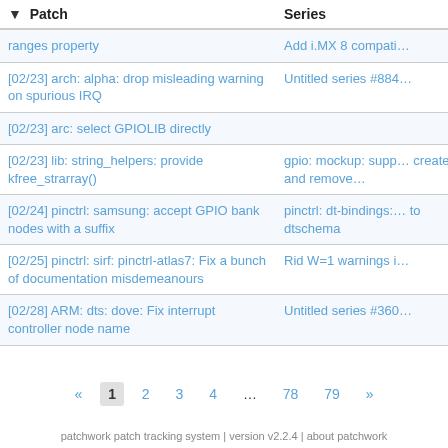| Patch | Series |
| --- | --- |
| ranges property | Add i.MX 8 compati… |
| [02/23] arch: alpha: drop misleading warning on spurious IRQ | Untitled series #884… |
| [02/23] arc: select GPIOLIB directly |  |
| [02/23] lib: string_helpers: provide kfree_strarray() | gpio: mockup: supp… created and remove… |
| [02/24] pinctrl: samsung: accept GPIO bank nodes with a suffix | pinctrl: dt-bindings:… to dtschema |
| [02/25] pinctrl: sirf: pinctrl-atlas7: Fix a bunch of documentation misdemeanours | Rid W=1 warnings i… |
| [02/28] ARM: dts: dove: Fix interrupt controller node name | Untitled series #360… |
« 1 2 3 4 ... 78 79 »
patchwork patch tracking system | version v2.2.4 | about patchwork